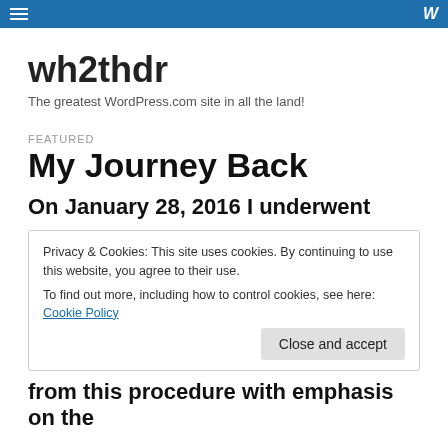wh2thdr navigation bar
wh2thdr
The greatest WordPress.com site in all the land!
FEATURED
My Journey Back
On January 28, 2016 I underwent
Privacy & Cookies: This site uses cookies. By continuing to use this website, you agree to their use.
To find out more, including how to control cookies, see here: Cookie Policy
Close and accept
from this procedure with emphasis on the